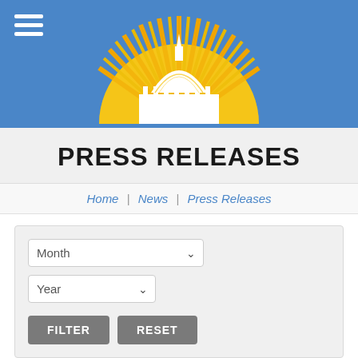[Figure (logo): Government website header with blue background, hamburger menu icon on the left, and a semicircular sunburst logo with white Capitol dome in the center]
PRESS RELEASES
Home | News | Press Releases
Month dropdown, Year dropdown, FILTER button, RESET button
CPC Amendment Requiring